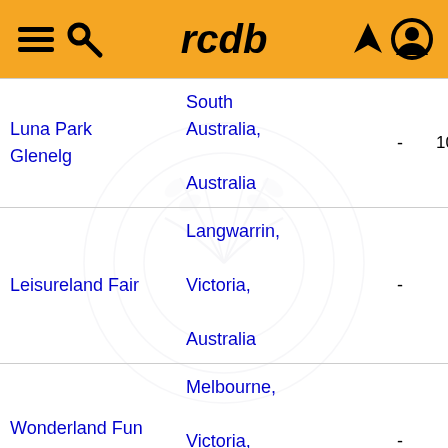rcdb
| Park Name | Location |  | Date |
| --- | --- | --- | --- |
| Luna Park Glenelg | South Australia, Australia | - | 10/8/1930 |
| Leisureland Fair | Langwarrin, Victoria, Australia | - | 1980s |
| Wonderland Fun Park | Melbourne, Victoria, Australia | - | 2010 |
| Funny Park | Annenheim, Carinthia, Austria | - | ≤ 2003 |
|  | Leutasch, | - |  |